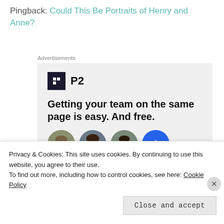Pingback: Could This Be Portraits of Henry and Anne?
[Figure (screenshot): Advertisement for P2 product showing logo, headline 'Getting your team on the same page is easy. And free.' and three circular avatar photos plus a blue plus button]
Privacy & Cookies: This site uses cookies. By continuing to use this website, you agree to their use.
To find out more, including how to control cookies, see here: Cookie Policy
Close and accept